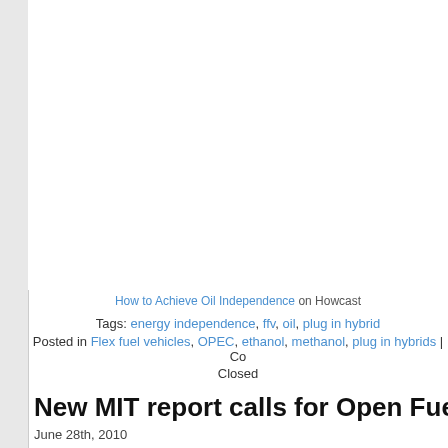How to Achieve Oil Independence on Howcast
Tags: energy independence, ffv, oil, plug in hybrid
Posted in Flex fuel vehicles, OPEC, ethanol, methanol, plug in hybrids | Co... Closed
New MIT report calls for Open Fuel Standard
June 28th, 2010
A new MIT report on natural gas determines that natural gas to methanol is... use of natural gas in transportation. The report calls for the introduction of... fuel standard enabling cars to run on any mixture of gasoline, ethanol and m...
“A range of liquid fuels can be produced by thermochemical conversion o... gas to a synthesis gas followed by catalytic conversion to the liquid fuel. The... include diesel produced by the Fischer-Tropsch process, methanol, mixed... (methanol, ethanol and others), ethanol, gasoline and dimethyl ether (wh... propane, requires modest pressurization to remain liquid).10 Amo... conversion processes, the only one that has been established at large...